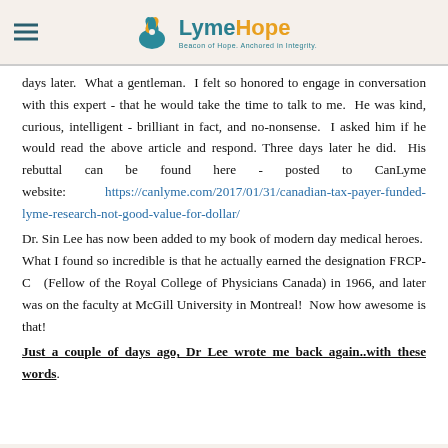LymeHope — Beacon of Hope. Anchored in Integrity.
days later.  What a gentleman.  I felt so honored to engage in conversation with this expert - that he would take the time to talk to me.  He was kind, curious, intelligent - brilliant in fact, and no-nonsense.  I asked him if he would read the above article and respond. Three days later he did.  His rebuttal can be found here - posted to CanLyme website:   https://canlyme.com/2017/01/31/canadian-tax-payer-funded-lyme-research-not-good-value-for-dollar/
Dr. Sin Lee has now been added to my book of modern day medical heroes.  What I found so incredible is that he actually earned the designation FRCP-C  (Fellow of the Royal College of Physicians Canada) in 1966, and later was on the faculty at McGill University in Montreal!  Now how awesome is that!
Just a couple of days ago, Dr Lee wrote me back again..with these words.